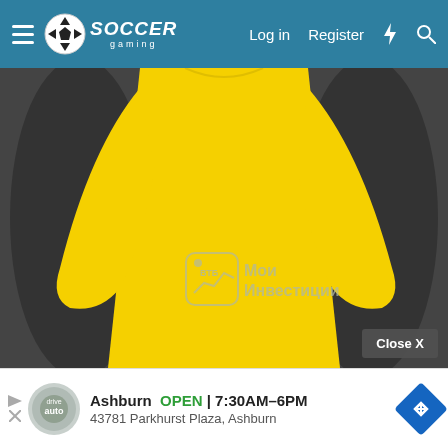Soccer Gaming — Log in | Register
[Figure (photo): Back view of a yellow long-sleeve soccer jersey (goalkeeper kit) with VTB Мои Инвестиции sponsor logo visible on the lower back. The jersey is displayed on a dark gray background.]
Close X
Ashburn  OPEN  7:30AM–6PM
43781 Parkhurst Plaza, Ashburn